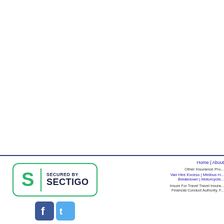[Figure (logo): Secured by Sectigo badge with green S logo and dark blue text]
[Figure (illustration): Facebook and Twitter social media icon buttons]
Home | About
Other Insurance Pro... Van Hire Excess | Minibus H... Breakdown | Motorcycle...
Insure For Travel Travel Insura... Financial Conduct Authority, F...